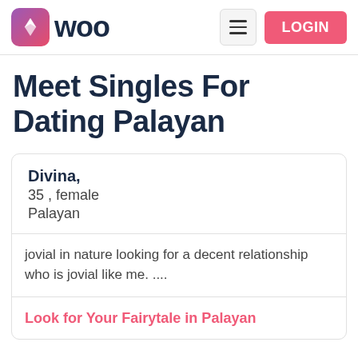Woo | LOGIN
Meet Singles For Dating Palayan
Divina,
35 , female
Palayan
jovial in nature looking for a decent relationship who is jovial like me. ....
Look for Your Fairytale in Palayan